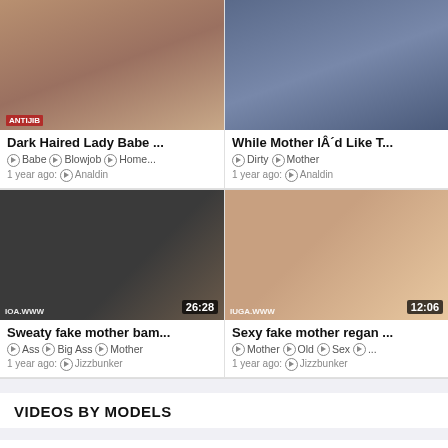[Figure (screenshot): Top-left video thumbnail - Dark Haired Lady Babe]
[Figure (screenshot): Top-right video thumbnail - While Mother I'd Like T...]
[Figure (screenshot): Middle-left video thumbnail - Sweaty fake mother bam... duration 26:28]
[Figure (screenshot): Middle-right video thumbnail - Sexy fake mother regan... duration 12:06]
VIDEOS BY MODELS
VIDEOS BY SPONSORS
Alphaporno (2624)    Analdin (2184)    Anyporn (5057)
Anysex (7128)    Beeg (7011)    Gotporn (2022)    Hellporno (462)